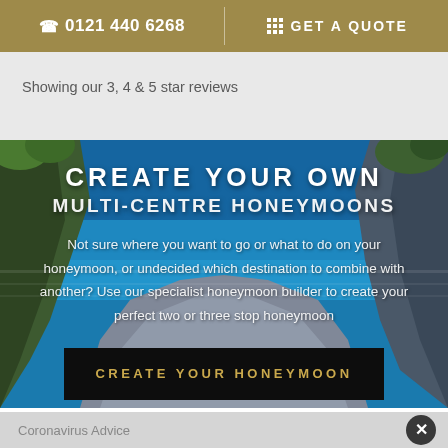☎ 0121 440 6268 | ⊞ GET A QUOTE
Showing our 3, 4 & 5 star reviews
[Figure (photo): Scenic coastal cliff view with blue water, rocky formations, and lush greenery — background image for multi-centre honeymoon promotional section]
CREATE YOUR OWN
MULTI-CENTRE HONEYMOONS
Not sure where you want to go or what to do on your honeymoon, or undecided which destination to combine with another? Use our specialist honeymoon builder to create your perfect two or three stop honeymoon
CREATE YOUR HONEYMOON
Coronavirus Advice